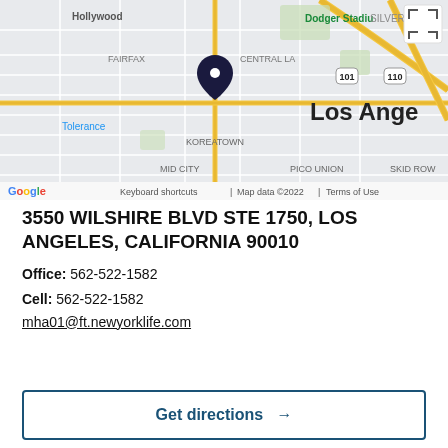[Figure (map): Google Maps screenshot showing Koreatown area of Los Angeles, CA with a location pin dropped near 3550 Wilshire Blvd. Visible neighborhoods include Hollywood, Fairfax, Central LA, Koreatown, Mid City, Pico Union, Skid Row, Silver Lake. Dodger Stadium labeled to the upper right. Highways 101 and 110 visible.]
3550 WILSHIRE BLVD STE 1750, LOS ANGELES, CALIFORNIA 90010
Office: 562-522-1582
Cell: 562-522-1582
mha01@ft.newyorklife.com
Get directions →